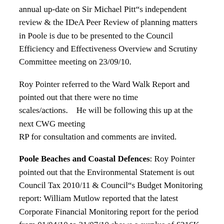annual up-date on Sir Michael Pitt’s independent review & the IDeA Peer Review of planning matters in Poole is due to be presented to the Council Efficiency and Effectiveness Overview and Scrutiny Committee meeting on 23/09/10.
Roy Pointer referred to the Ward Walk Report and pointed out that there were no time scales/actions.    He will be following this up at the next CWG meeting
RP for consultation and comments are invited.
Poole Beaches and Coastal Defences: Roy Pointer pointed out that the Environmental Statement is out Council Tax 2010/11 & Council’s Budget Monitoring report: William Mutlow reported that the latest Corporate Financial Monitoring report for the period from 01/04/10 to 31/07/10 shows a surplus of £216K.